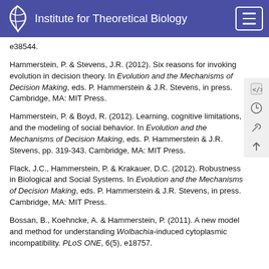Institute for Theoretical Biology
e38544.
Hammerstein, P. & Stevens, J.R. (2012). Six reasons for invoking evolution in decision theory. In Evolution and the Mechanisms of Decision Making, eds. P. Hammerstein & J.R. Stevens, in press. Cambridge, MA: MIT Press.
Hammerstein, P. & Boyd, R. (2012). Learning, cognitive limitations, and the modeling of social behavior. In Evolution and the Mechanisms of Decision Making, eds. P. Hammerstein & J.R. Stevens, pp. 319-343. Cambridge, MA: MIT Press.
Flack, J.C., Hammerstein, P. & Krakauer, D.C. (2012). Robustness in Biological and Social Systems. In Evolution and the Mechanisms of Decision Making, eds. P. Hammerstein & J.R. Stevens, in press. Cambridge, MA: MIT Press.
Bossan, B., Koehncke, A. & Hammerstein, P. (2011). A new model and method for understanding Wolbachia-induced cytoplasmic incompatibility. PLoS ONE, 6(5), e18757.